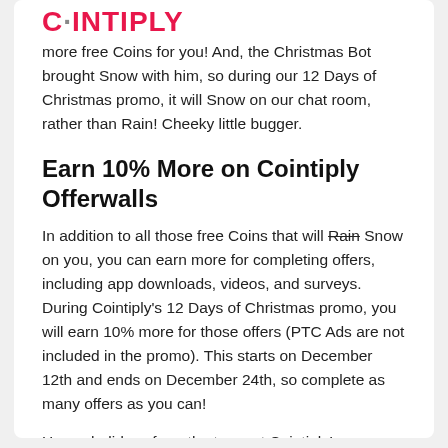C·OINTIPLY
more free Coins for you! And, the Christmas Bot brought Snow with him, so during our 12 Days of Christmas promo, it will Snow on our chat room, rather than Rain! Cheeky little bugger.
Earn 10% More on Cointiply Offerwalls
In addition to all those free Coins that will Rain Snow on you, you can earn more for completing offers, including app downloads, videos, and surveys. During Cointiply's 12 Days of Christmas promo, you will earn 10% more for those offers (PTC Ads are not included in the promo). This starts on December 12th and ends on December 24th, so complete as many offers as you can!
Happy holidays from the team at Cointiply!